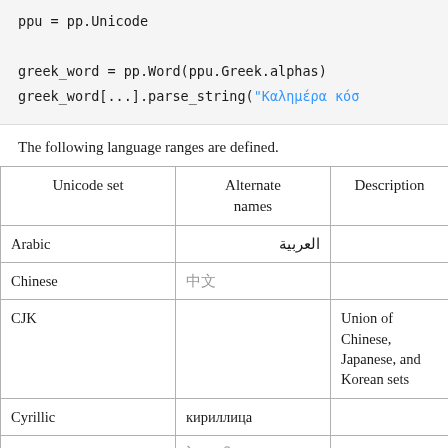ppu = pp.Unicode

greek_word = pp.Word(ppu.Greek.alphas)
greek_word[...].parse_string("Καλημέρα κόσ
The following language ranges are defined.
| Unicode set | Alternate names | Description |
| --- | --- | --- |
| Arabic | العربية |  |
| Chinese | 中文 |  |
| CJK |  | Union of Chinese, Japanese, and Korean sets |
| Cyrillic | кириллица |  |
| Devanagari | देवनागरी |  |
| Greek | Ελληνικά |  |
| Hangul | Korean, 한글 |  |
| Hebrew | עברית |  |